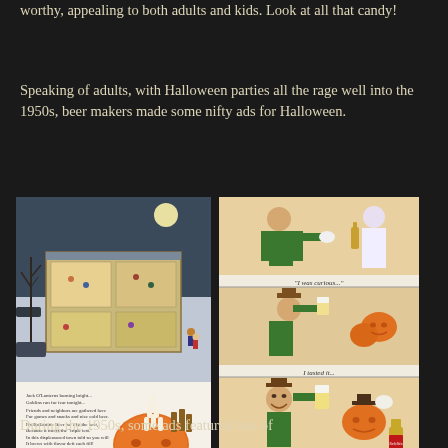worthy, appealing to both adults and kids. Look at all that candy!
Speaking of adults, with Halloween parties all the rage well into the 1950s, beer makers made some nifty ads for Halloween.
[Figure (photo): Two vintage Halloween beer advertisements side by side. Left: Ballantine Beer ad showing a cross-section illustration of a Halloween party house at night with trick-or-treaters outside, plus a Jack-o-lantern with bowling pins and beer bottles, text reading 'BALLANTINE BEER ...with the Flavor the...' and 'jonwilkinson.com'. Right: Schlitz beer comic-strip style ad in three panels showing costumed party-goers with captions 'I was curious...', 'I tasted it...', and 'No wonder Schlitz is... The largest-selling beer in America! The Beer that made Milwaukee Famous!' with Schlitz logo.]
During the 1950s, some ads featured lots of